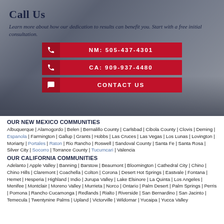Call Us
Learn more about how our dedication to results can benefit you. Start with a free initial consultation.
[Figure (infographic): Red button: NM: 505-437-4301 with phone icon]
[Figure (infographic): Red button: CA: 909-937-4480 with phone icon]
[Figure (infographic): Red button: CONTACT US with chat icon]
OUR NEW MEXICO COMMUNITIES
Albuquerque | Alamogordo | Belen | Bernalillo County | Carlsbad | Cibola County | Clovis | Deming | Espanola | Farmington | Gallup | Grants | Hobbs | Las Cruces | Las Vegas | Los Lunas | Lovington | Moriarty | Portales | Raton | Rio Rancho | Roswell | Sandoval County | Santa Fe | Santa Rosa | Silver City | Socorro | Torrance County | Tucumcari | Valencia
OUR CALIFORNIA COMMUNITIES
Adelanto | Apple Valley | Banning | Barstow | Beaumont | Bloomington | Cathedral City | Chino | Chino Hills | Claremont | Coachella | Colton | Corona | Desert Hot Springs | Eastvale | Fontana | Hemet | Hesperia | Highland | Indio | Jurupa Valley | Lake Elsinore | La Quinta | Los Angeles | Menifee | Montclair | Moreno Valley | Murrieta | Norco | Ontario | Palm Desert | Palm Springs | Perris | Pomona | Rancho Cucamonga | Redlands | Rialto | Riverside | San Bernardino | San Jacinto | Temecula | Twentynine Palms | Upland | Victorville | Wildomar | Yucaipa | Yucca Valley